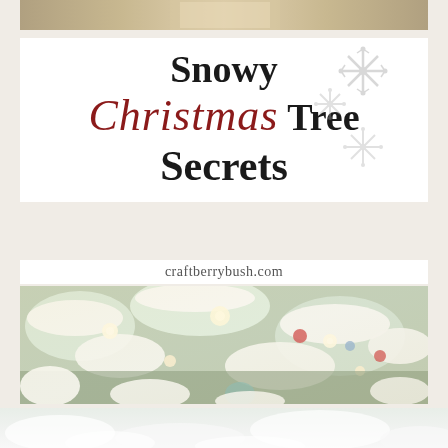[Figure (photo): Top portion of a decorated interior scene, cropped at top of page]
Snowy Christmas Tree Secrets
craftberrybush.com
[Figure (photo): Close-up of a flocked/snowy Christmas tree with ornaments, warm lights, and decorations]
[Figure (photo): Bottom blurred snowy white background]